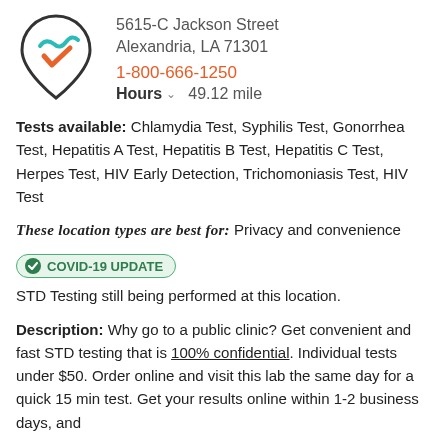[Figure (logo): Location pin logo with teal and orange checkmark design]
5615-C Jackson Street
Alexandria, LA 71301
1-800-666-1250
Hours  49.12 mile
Tests available: Chlamydia Test, Syphilis Test, Gonorrhea Test, Hepatitis A Test, Hepatitis B Test, Hepatitis C Test, Herpes Test, HIV Early Detection, Trichomoniasis Test, HIV Test
These location types are best for: Privacy and convenience
COVID-19 UPDATE  STD Testing still being performed at this location.
Description: Why go to a public clinic? Get convenient and fast STD testing that is 100% confidential. Individual tests under $50. Order online and visit this lab the same day for a quick 15 min test. Get your results online within 1-2 business days, and